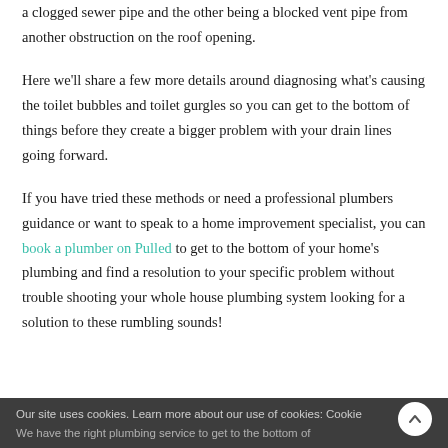a clogged sewer pipe and the other being a blocked vent pipe from another obstruction on the roof opening.
Here we'll share a few more details around diagnosing what's causing the toilet bubbles and toilet gurgles so you can get to the bottom of things before they create a bigger problem with your drain lines going forward.
If you have tried these methods or need a professional plumbers guidance or want to speak to a home improvement specialist, you can book a plumber on Pulled to get to the bottom of your home's plumbing and find a resolution to your specific problem without trouble shooting your whole house plumbing system looking for a solution to these rumbling sounds!
Our site uses cookies. Learn more about our use of cookies: Cookie
We have the right plumbing service to get to the bottom of